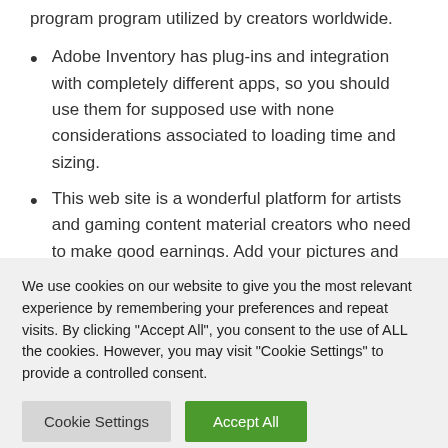program program utilized by creators worldwide.
Adobe Inventory has plug-ins and integration with completely different apps, so you should use them for supposed use with none considerations associated to loading time and sizing.
This web site is a wonderful platform for artists and gaming content material creators who need to make good earnings. Add your pictures and editorials to get acknowledged. When folks use these providers, they
We use cookies on our website to give you the most relevant experience by remembering your preferences and repeat visits. By clicking "Accept All", you consent to the use of ALL the cookies. However, you may visit "Cookie Settings" to provide a controlled consent.